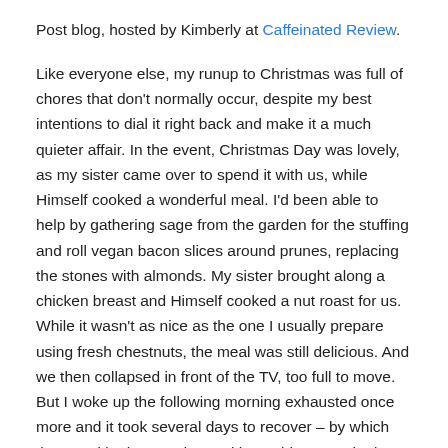Post blog, hosted by Kimberly at Caffeinated Review.
Like everyone else, my runup to Christmas was full of chores that don't normally occur, despite my best intentions to dial it right back and make it a much quieter affair. In the event, Christmas Day was lovely, as my sister came over to spend it with us, while Himself cooked a wonderful meal. I'd been able to help by gathering sage from the garden for the stuffing and roll vegan bacon slices around prunes, replacing the stones with almonds. My sister brought along a chicken breast and Himself cooked a nut roast for us. While it wasn't as nice as the one I usually prepare using fresh chestnuts, the meal was still delicious. And we then collapsed in front of the TV, too full to move. But I woke up the following morning exhausted once more and it took several days to recover – by which time we'd both gone down with a cold. Or maybe it was Omicron. Despite the fact that the lateral flow tests all were negative, given that my daughter and young granddaughter got sick with covid over the Christmas holidays, it had to be a possibility even though they'd stood at the door and not come into the house when we saw them the one time during the Christmas period. Fortunately they recovered without any ill effects, which was a huge relief.